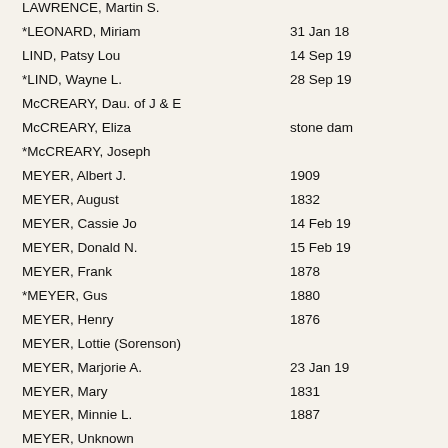LAWRENCE, Martin S.
*LEONARD, Miriam	31 Jan 18
LIND, Patsy Lou	14 Sep 19
*LIND, Wayne L.	28 Sep 19
McCREARY, Dau. of J & E
McCREARY, Eliza	stone dam
*McCREARY, Joseph
MEYER, Albert J.	1909
MEYER, August	1832
MEYER, Cassie Jo	14 Feb 19
MEYER, Donald N.	15 Feb 19
MEYER, Frank	1878
*MEYER, Gus	1880
MEYER, Henry	1876
MEYER, Lottie (Sorenson)
MEYER, Marjorie A.	23 Jan 19
MEYER, Mary	1831
MEYER, Minnie L.	1887
MEYER, Unknown
MEYER, Unknown
MEYER, Will	1872
MYERS, Charlotte